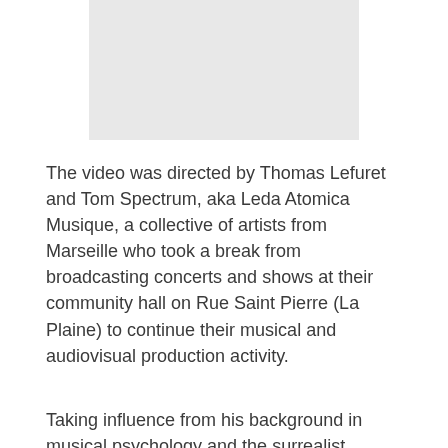[Figure (photo): A light gray rectangular image placeholder at the top center of the page.]
The video was directed by Thomas Lefuret and Tom Spectrum, aka Leda Atomica Musique, a collective of artists from Marseille who took a break from broadcasting concerts and shows at their community hall on Rue Saint Pierre (La Plaine) to continue their musical and audiovisual production activity.
Taking influence from his background in musical psychology and the surrealist French cinema movement of the 20th century, The End marks Lewis' [continues]